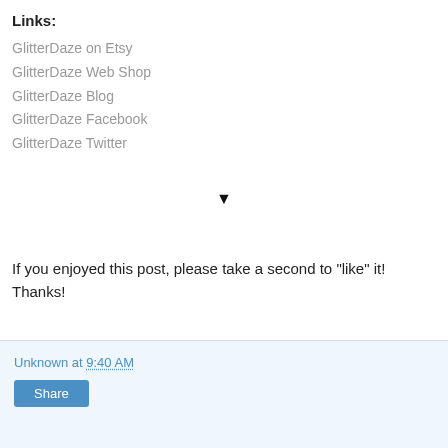Links:
GlitterDaze on Etsy
GlitterDaze Web Shop
GlitterDaze Blog
GlitterDaze Facebook
GlitterDaze Twitter
♥
If you enjoyed this post, please take a second to "like" it! Thanks!
.
Unknown at 9:40 AM
Share